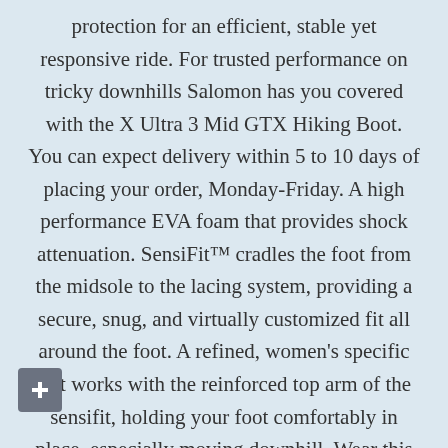protection for an efficient, stable yet responsive ride. For trusted performance on tricky downhills Salomon has you covered with the X Ultra 3 Mid GTX Hiking Boot. You can expect delivery within 5 to 10 days of placing your order, Monday-Friday. A high performance EVA foam that provides shock attenuation. SensiFit™ cradles the foot from the midsole to the lacing system, providing a secure, snug, and virtually customized fit all around the foot. A refined, women's specific last works with the reinforced top arm of the sensifit, holding your foot comfortably in place, especially moving downhill. Wear this pair and head downhill with a spring in your step, even in wet conditions. Fast delivery, and 24/7/365 real-person service with a smile. Whether you're backpacking through misty mountains or summiting one lonely peak, you've always got to factor in the journey home. No PO, FPO, or APO